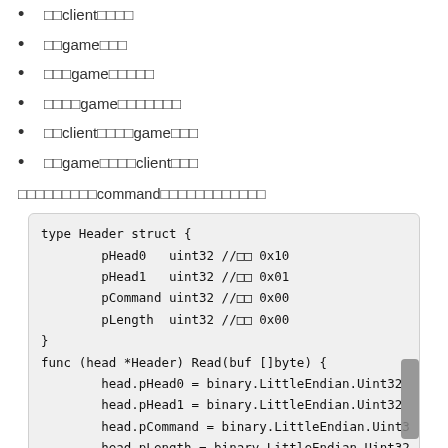□□client□□□□
□□game□□□
□□□game□□□□□
□□□□game□□□□□□□
□□client□□□□game□□□
□□game□□□□client□□□
□□□□□□□□□command□□□□□□□□□□□□
[Figure (screenshot): Go code block showing Header struct with fields pHead0, pHead1, pCommand, pLength all of type uint32, and a Read method using binary.LittleEndian.Uint32]